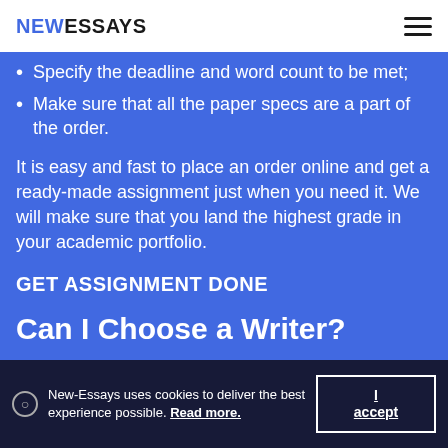NEWESSAYS
Specify the deadline and word count to be met;
Make sure that all the paper specs are a part of the order.
It is easy and fast to place an order online and get a ready-made assignment just when you need it. We will make sure that you land the highest grade in your academic portfolio.
GET ASSIGNMENT DONE
Can I Choose a Writer?
New-Essays uses cookies to deliver the best experience possible. Read more.
I accept